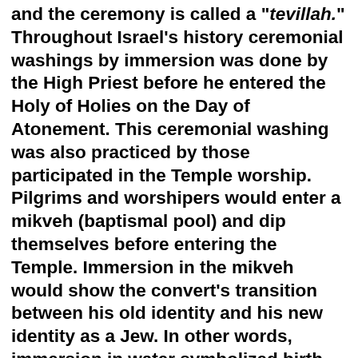and the ceremony is called a "tevillah." Throughout Israel's history ceremonial washings by immersion was done by the High Priest before he entered the Holy of Holies on the Day of Atonement. This ceremonial washing was also practiced by those participated in the Temple worship. Pilgrims and worshipers would enter a mikveh (baptismal pool) and dip themselves before entering the Temple. Immersion in the mikveh would show the convert's transition between his old identity and his new identity as a Jew. In other words, immersion in water symbolized birth as a Jew. 7  There were many mikvahs around the Temple in Jerusalem in Jesus' day which were used for this purpose. Josephus wrote that the laws of the rite of immersion were strictly followed in Temple worship. 8  However, these washings were not the same as John's baptism. John was doing something completely new among